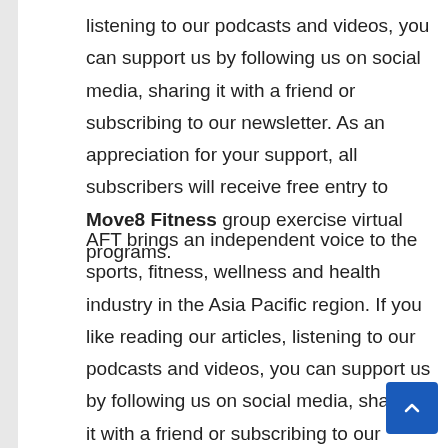listening to our podcasts and videos, you can support us by following us on social media, sharing it with a friend or subscribing to our newsletter. As an appreciation for your support, all subscribers will receive free entry to Move8 Fitness group exercise virtual programs.
AFT brings an independent voice to the sports, fitness, wellness and health industry in the Asia Pacific region. If you like reading our articles, listening to our podcasts and videos, you can support us by following us on social media, sharing it with a friend or subscribing to our newsletter. As an appreciation for your support, all subscribers will receive free entry to Move8 Fitness group exercise virtual programs.